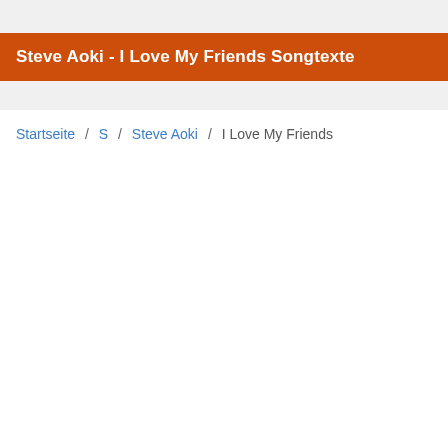Steve Aoki - I Love My Friends Songtexte
Startseite / S / Steve Aoki / I Love My Friends